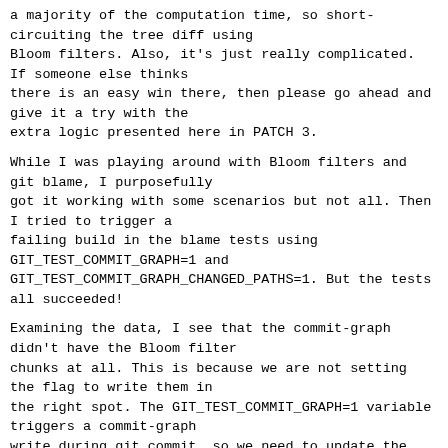a majority of the computation time, so short-circuiting the tree diff using
Bloom filters. Also, it's just really complicated. If someone else thinks
there is an easy win there, then please go ahead and give it a try with the
extra logic presented here in PATCH 3.
While I was playing around with Bloom filters and git blame, I purposefully
got it working with some scenarios but not all. Then I tried to trigger a
failing build in the blame tests using
GIT_TEST_COMMIT_GRAPH=1 and
GIT_TEST_COMMIT_GRAPH_CHANGED_PATHS=1. But the tests all succeeded!
Examining the data, I see that the commit-graph didn't have the Bloom filter
chunks at all. This is because we are not setting the flag to write them in
the right spot. The GIT_TEST_COMMIT_GRAPH=1 variable triggers a commit-graph
write during git commit, so we need to update the code there instead of just
inspecting the variable in git commit-graph write.
(This is PATCH 2.)
By updating this variable, I saw some test failures in other tests regarding